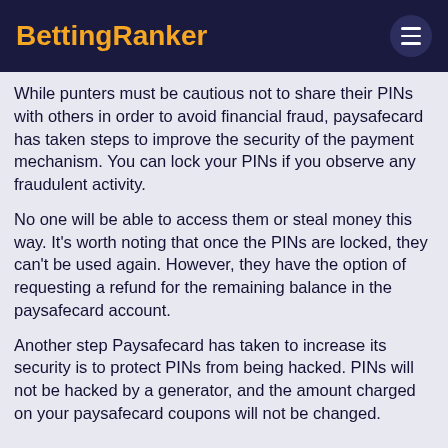BettingRanker
While punters must be cautious not to share their PINs with others in order to avoid financial fraud, paysafecard has taken steps to improve the security of the payment mechanism. You can lock your PINs if you observe any fraudulent activity.
No one will be able to access them or steal money this way. It's worth noting that once the PINs are locked, they can't be used again. However, they have the option of requesting a refund for the remaining balance in the paysafecard account.
Another step Paysafecard has taken to increase its security is to protect PINs from being hacked. PINs will not be hacked by a generator, and the amount charged on your paysafecard coupons will not be changed.